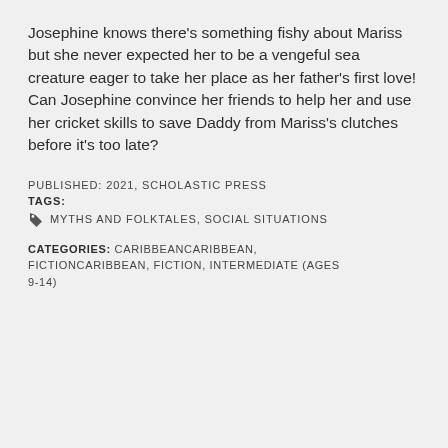Josephine knows there's something fishy about Mariss but she never expected her to be a vengeful sea creature eager to take her place as her father's first love! Can Josephine convince her friends to help her and use her cricket skills to save Daddy from Mariss's clutches before it's too late?
PUBLISHED: 2021, SCHOLASTIC PRESS
TAGS:
MYTHS AND FOLKTALES, SOCIAL SITUATIONS
CATEGORIES: CARIBBEANCARIBBEAN, FICTIONCARIBBEAN, FICTION, INTERMEDIATE (AGES 9-14)